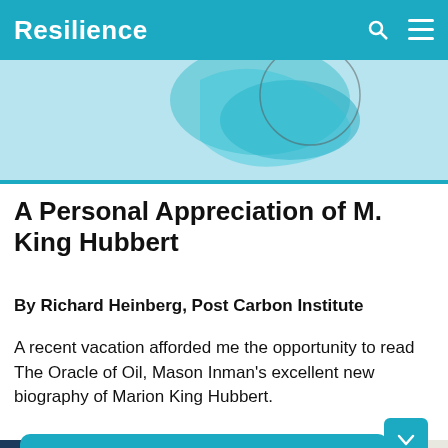Resilience
[Figure (illustration): Hero banner image with teal/cyan abstract wave or yarn-like shape on light blue background]
A Personal Appreciation of M. King Hubbert
By Richard Heinberg, Post Carbon Institute
A recent vacation afforded me the opportunity to read The Oracle of Oil, Mason Inman's excellent new biography of Marion King Hubbert.
[Figure (screenshot): Teal popup widget asking 'How likely are you to recommend Resilience.org to a friend?' with a Reply button. A blue photo strip is visible behind/below the popup.]